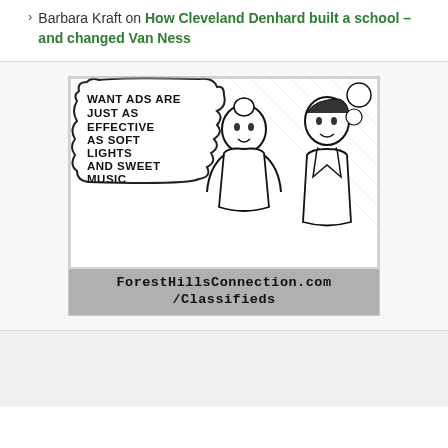Barbara Kraft on How Cleveland Denhard built a school – and changed Van Ness
[Figure (illustration): Vintage comic-style black and white illustration showing a woman and a man in formal attire. A thought/speech bubble on the left reads: 'WANT ADS ARE JUST AS EFFECTIVE AS SOFT LIGHTS AND SWEET MUSIC'. Below the illustration is a gray banner with text 'ForestHillsConnection.com/Classifieds' in monospace font.]